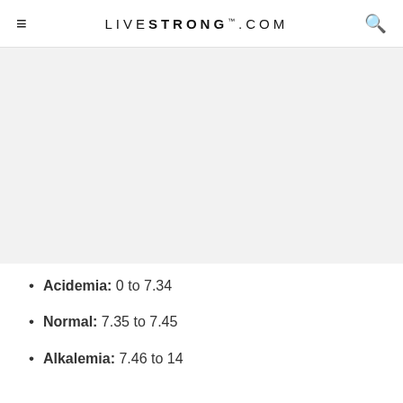LIVESTRONG.COM
[Figure (photo): Gray placeholder image area]
Acidemia: 0 to 7.34
Normal: 7.35 to 7.45
Alkalemia: 7.46 to 14